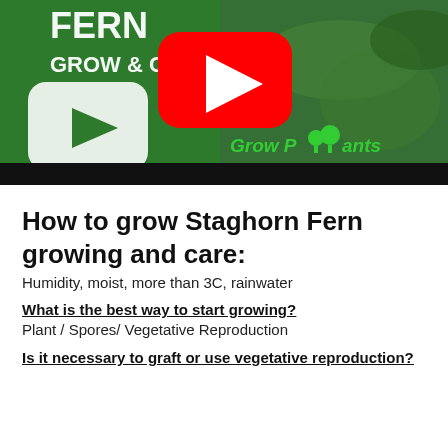[Figure (screenshot): YouTube video thumbnail for Staghorn Fern grow and care guide, showing a YouTube play button icon, green plant background, and 'Grow Plants' branding text. Red YouTube logo in center. Black bar at bottom.]
How to grow Staghorn Fern growing and care:
Humidity, moist, more than 3C, rainwater
What is the best way to start growing?
Plant / Spores/ Vegetative Reproduction
Is it necessary to graft or use vegetative reproduction?